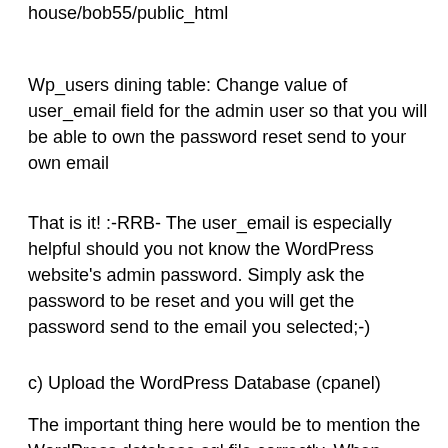…/public_html/bob55/public_html
Wp_users dining table: Change value of user_email field for the admin user so that you will be able to own the password reset send to your own email
That is it! :-RRB- The user_email is especially helpful should you not know the WordPress website's admin password. Simply ask the password to be reset and you will get the password send to the email you selected;-)
c) Upload the WordPress Database (cpanel)
The important thing here would be to mention the WordPress database sql file correctly. When assigning via the cpanel it may make use of the database according to your WordPress database sql file name. Do NOT add a database